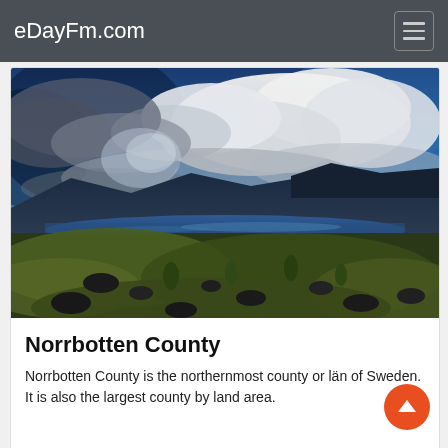eDayFm.com
[Figure (photo): HDR landscape photograph of Norrbotten County, Sweden: dramatic stormy blue sky with large white clouds, mountains in the background, a lake or fjord in the middle distance, and rocky tundra with sparse green vegetation in the foreground.]
Norrbotten County
Norrbotten County is the northernmost county or län of Sweden. It is also the largest county by land area.